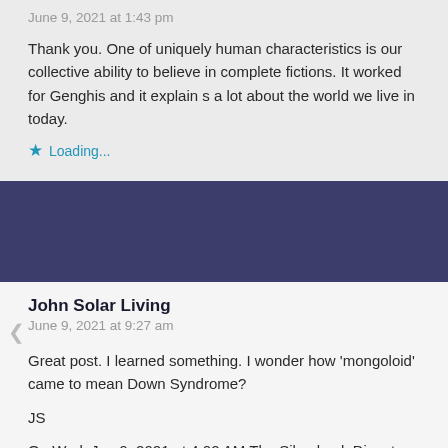June 9, 2021 at 1:43 pm
Thank you. One of uniquely human characteristics is our collective ability to believe in complete fictions. It worked for Genghis and it explain s a lot about the world we live in today.
Loading...
John Solar Living
June 9, 2021 at 9:27 am
Great post. I learned something. I wonder how 'mongoloid' came to mean Down Syndrome?
JS
On Wed, Jun 9, 2021 at 4:02 AM The Silverback Digest wrote: